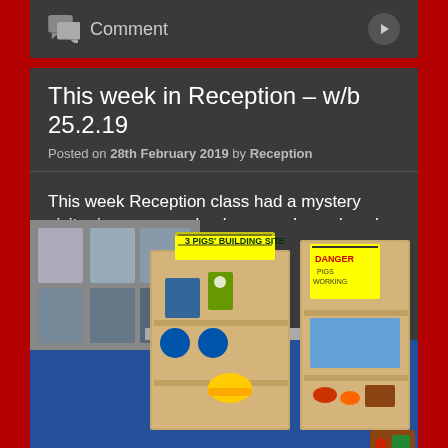Comment
This week in Reception – w/b 25.2.19
Posted on 28th February 2019 by Reception
This week Reception class had a mystery visitor in our new role play area.  I wonder who it could be?
[Figure (photo): A classroom role play area set up as '3 Pigs' Building Site' with cardboard shelving units displaying construction-themed props, safety signs, a yellow hard hat, building toys, a green traffic cone, toy bricks, and a 'DANGER' warning sign on the right unit. Blue floor visible.]